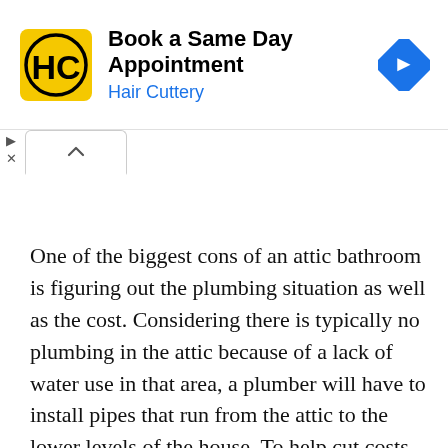[Figure (screenshot): Hair Cuttery advertisement banner with yellow square logo showing 'HC', text 'Book a Same Day Appointment' and 'Hair Cuttery' in blue, and a blue diamond navigation arrow icon on the right.]
One of the biggest cons of an attic bathroom is figuring out the plumbing situation as well as the cost. Considering there is typically no plumbing in the attic because of a lack of water use in that area, a plumber will have to install pipes that run from the attic to the lower levels of the house. To help cut costs, plan to put the bathroom as close to the already installed plumbing as possible.